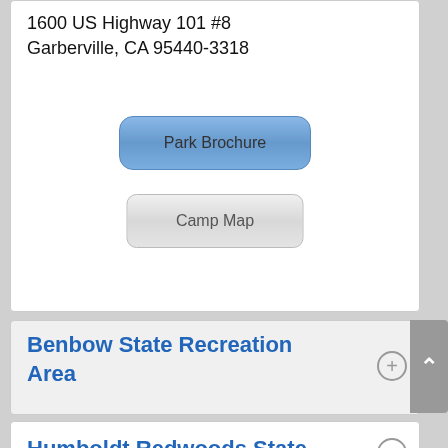1600 US Highway 101  #8
Garberville, CA 95440-3318
[Figure (other): Blue rounded button labeled 'Park Brochure']
[Figure (other): Gray rounded button labeled 'Camp Map']
Benbow State Recreation Area
Humboldt Redwoods State